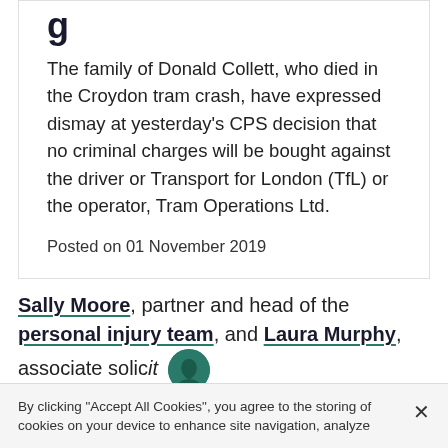The family of Donald Collett, who died in the Croydon tram crash, have expressed dismay at yesterday's CPS decision that no criminal charges will be bought against the driver or Transport for London (TfL) or the operator, Tram Operations Ltd.
Posted on 01 November 2019
Sally Moore, partner and head of the personal injury team, and Laura Murphy, associate solic...
By clicking "Accept All Cookies", you agree to the storing of cookies on your device to enhance site navigation, analyze